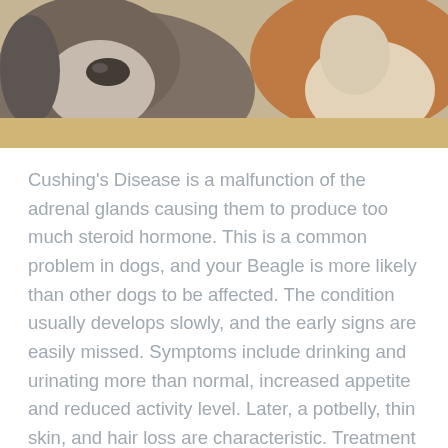[Figure (photo): Close-up photo of two Beagle dogs resting their heads down, viewed from front, warm tones with brown and grey fur]
Cushing's Disease is a malfunction of the adrenal glands causing them to produce too much steroid hormone. This is a common problem in dogs, and your Beagle is more likely than other dogs to be affected. The condition usually develops slowly, and the early signs are easily missed. Symptoms include drinking and urinating more than normal, increased appetite and reduced activity level. Later, a potbelly, thin skin, and hair loss are characteristic. Treatment usually includes oral medications, and requires close coordination with us to ensure correct dosing.
Cancer
Cancer is a leading cause of death in older dogs. Your